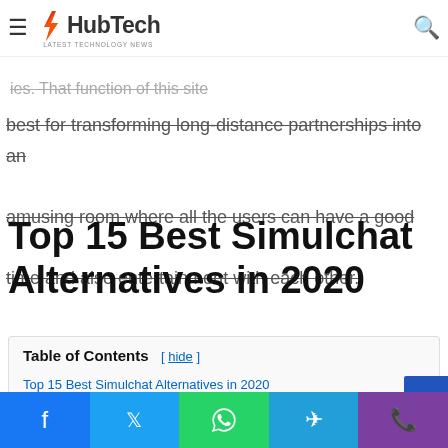HubTech — Latest Technology News
is straightforward that maintains the faith in ...ies. That function of this site
best for transforming long-distance partnerships into an amusing room where all the users can have a good time and also entertainment with each other.
Top 15 Best Simulchat Alternatives in 2020
Table of Contents [ hide ]
Top 15 Best Simulchat Alternatives in 2020
Facebook  Twitter  WhatsApp  Telegram  Phone